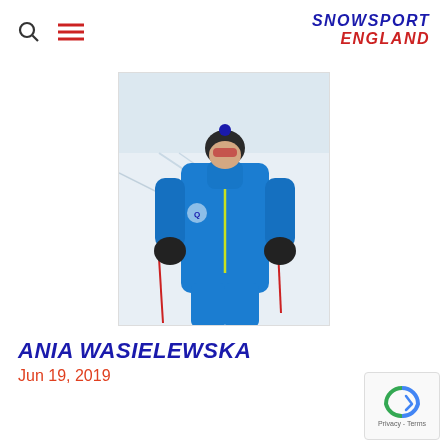Snowsport England
[Figure (photo): A person wearing a bright blue ski jacket and matching ski pants, dark ski gloves, a dark beanie hat with a pompom, and ski goggles pushed up on their forehead, standing on a snowy slope with a ski course visible in the background.]
ANIA WASIELEWSKA
Jun 19, 2019